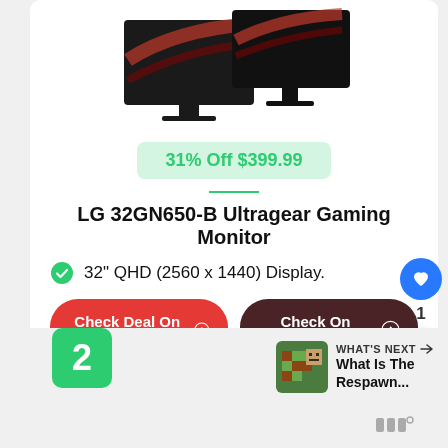[Figure (photo): LG gaming monitor product photo showing two monitors with red accents on dark background]
31% Off $399.99
LG 32GN650-B Ultragear Gaming Monitor
32" QHD (2560 x 1440) Display.
Check Deal On Amazon →
Check On NewEgg →
1
2
WHAT'S NEXT → What Is The Respawn...
[Figure (screenshot): Minecraft-style thumbnail for What Is The Respawn article]
[Figure (logo): Millennial logo watermark]